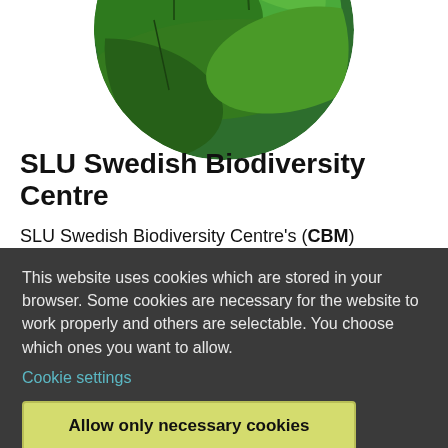[Figure (photo): Circular cropped photo of green leaves/foliage, partially visible at top of page]
SLU Swedish Biodiversity Centre
SLU Swedish Biodiversity Centre's (CBM) research covers sustainable use of wild and cultivated biodiversity in different land use
This website uses cookies which are stored in your browser. Some cookies are necessary for the website to work properly and others are selectable. You choose which ones you want to allow.
Cookie settings
Allow only necessary cookies
Allow all cookies